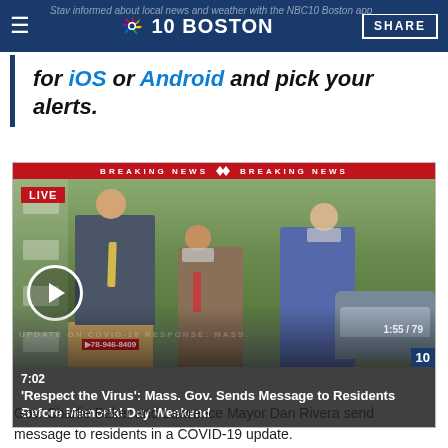NBC 10 Boston | Stay informed about local news and weather with the NBC10 Boston app
for iOS or Android and pick your alerts.
[Figure (screenshot): NBC10 Boston live news video thumbnail showing a press conference with Gov. Charlie Baker and others wearing masks. Breaking News banner at top. LIVE badge visible. Play button overlay. Duration 7:02. Title: 'Respect the Virus': Mass. Gov. Sends Message to Residents Before Memorial Day Weekend]
Gov. Charlie Baker and Lawrence Mayor Dan Rivera send message to residents in a COVID-19 update.